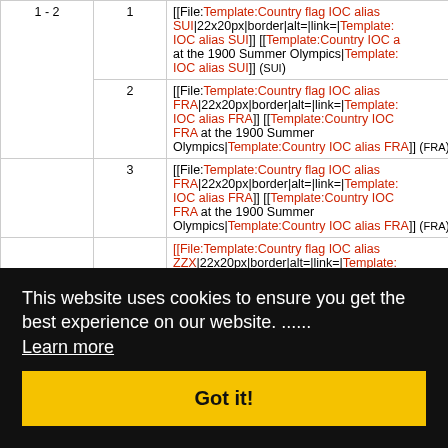| Rank | No. | Content |
| --- | --- | --- |
| 1 - 2 | 1 | [[File:Template:Country flag IOC alias SUI|22x20px|border|alt=|link=|Template:IOC alias SUI]] [[Template:Country IOC at the 1900 Summer Olympics|Template:IOC alias SUI]] (SUI) |
|  | 2 | [[File:Template:Country flag IOC alias FRA|22x20px|border|alt=|link=|Template:IOC alias FRA]] [[Template:Country IOC FRA at the 1900 Summer Olympics|Template:Country IOC alias FRA]] (FRA) |
|  | 3 | [[File:Template:Country flag IOC alias FRA|22x20px|border|alt=|link=|Template:IOC alias FRA]] [[Template:Country IOC FRA at the 1900 Summer Olympics|Template:Country IOC alias FRA]] (FRA) |
|  |  | [[File:Template:Country flag IOC alias ZZX|22x20px|border|alt=|link=|Template:IOC alias ZZX]] [[Template:Country IOC... |
This website uses cookies to ensure you get the best experience on our website. Learn more